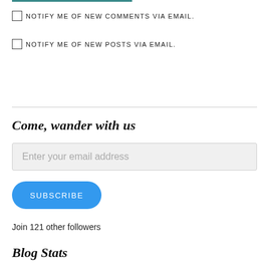NOTIFY ME OF NEW COMMENTS VIA EMAIL.
NOTIFY ME OF NEW POSTS VIA EMAIL.
Come, wander with us
Enter your email address
SUBSCRIBE
Join 121 other followers
Blog Stats